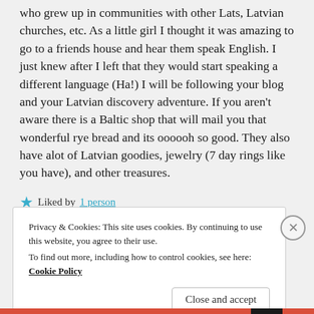who grew up in communities with other Lats, Latvian churches, etc. As a little girl I thought it was amazing to go to a friends house and hear them speak English. I just knew after I left that they would start speaking a different language (Ha!) I will be following your blog and your Latvian discovery adventure. If you aren't aware there is a Baltic shop that will mail you that wonderful rye bread and its oooooh so good. They also have alot of Latvian goodies, jewelry (7 day rings like you have), and other treasures.
Liked by 1 person
Privacy & Cookies: This site uses cookies. By continuing to use this website, you agree to their use. To find out more, including how to control cookies, see here: Cookie Policy
Close and accept